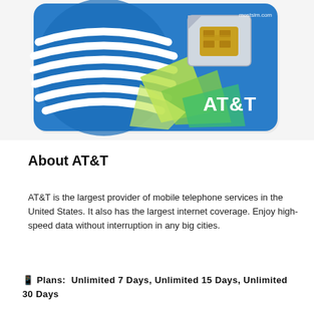[Figure (photo): AT&T SIM card product photo showing the AT&T logo (blue globe with stripes) on a blue SIM card with a gold chip, and 'mostsim.com' watermark in top right]
About AT&T
AT&T is the largest provider of mobile telephone services in the United States. It also has the largest internet coverage. Enjoy high-speed data without interruption in any big cities.
📱 Plans:  Unlimited 7 Days, Unlimited 15 Days, Unlimited 30 Days